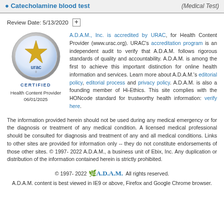Catecholamine blood test (Medical Test)
Review Date: 5/13/2020
[Figure (logo): URAC certified health content provider badge - circular silver badge with gold star and URAC text, labeled CERTIFIED. Health Content Provider 06/01/2025]
A.D.A.M., Inc. is accredited by URAC, for Health Content Provider (www.urac.org). URAC's accreditation program is an independent audit to verify that A.D.A.M. follows rigorous standards of quality and accountability. A.D.A.M. is among the first to achieve this important distinction for online health information and services. Learn more about A.D.A.M.'s editorial policy, editorial process and privacy policy. A.D.A.M. is also a founding member of Hi-Ethics. This site complies with the HONcode standard for trustworthy health information: verify here.
The information provided herein should not be used during any medical emergency or for the diagnosis or treatment of any medical condition. A licensed medical professional should be consulted for diagnosis and treatment of any and all medical conditions. Links to other sites are provided for information only -- they do not constitute endorsements of those other sites. © 1997- 2022 A.D.A.M., a business unit of Ebix, Inc. Any duplication or distribution of the information contained herein is strictly prohibited.
© 1997- 2022 A.D.A.M. All rights reserved. A.D.A.M. content is best viewed in IE9 or above, Firefox and Google Chrome browser.